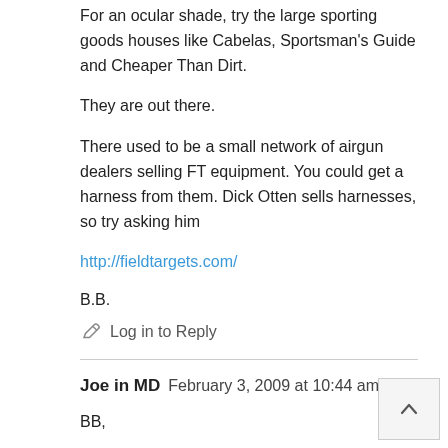For an ocular shade, try the large sporting goods houses like Cabelas, Sportsman's Guide and Cheaper Than Dirt.
They are out there.
There used to be a small network of airgun dealers selling FT equipment. You could get a harness from them. Dick Otten sells harnesses, so try asking him
http://fieldtargets.com/
B.B.
Log in to Reply
Joe in MD   February 3, 2009 at 10:44 am
BB,
A few comments: